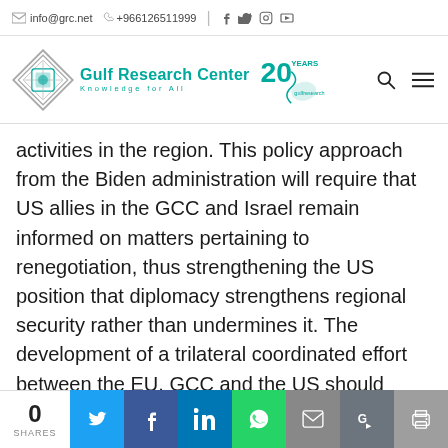info@grc.net  +966126511999
[Figure (logo): Gulf Research Center logo with diamond geometric shape, text 'Gulf Research Center Knowledge for All' and 20 years anniversary badge]
activities in the region. This policy approach from the Biden administration will require that US allies in the GCC and Israel remain informed on matters pertaining to renegotiation, thus strengthening the US position that diplomacy strengthens regional security rather than undermines it. The development of a trilateral coordinated effort between the EU, GCC and the US should encompass Iran's nuclear program, its missile
0 SHARES  [Twitter] [Facebook] [LinkedIn] [WhatsApp] [Email] [Translate] [Print]